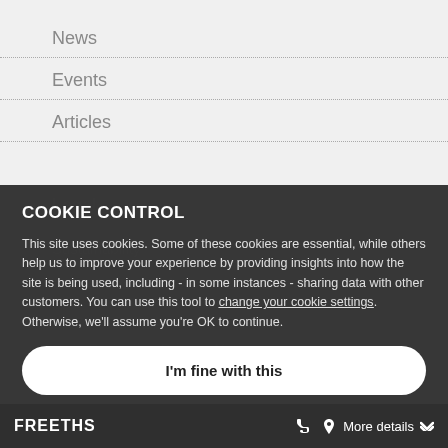News
Events
Articles
COOKIE CONTROL
This site uses cookies. Some of these cookies are essential, while others help us to improve your experience by providing insights into how the site is being used, including - in some instances - sharing data with other customers. You can use this tool to change your cookie settings. Otherwise, we'll assume you're OK to continue.
I'm fine with this
FREETHS    More details